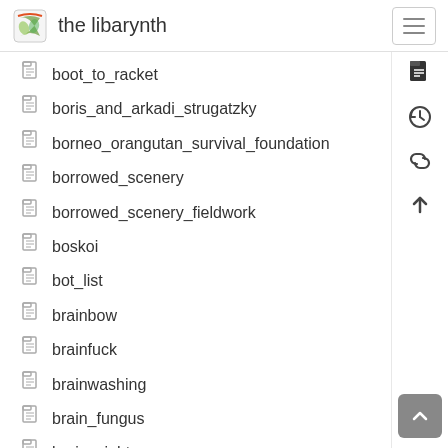the libarynth
boot_to_racket
boris_and_arkadi_strugatzky
borneo_orangutan_survival_foundation
borrowed_scenery
borrowed_scenery_fieldwork
boskoi
bot_list
brainbow
brainfuck
brainwashing
brain_fungus
brain_sight
brain_wavess
braitenberg_vehicles
breakdown_of_expenses
breathing_exercises
brfxxccxxmnpccccllllmmnprxvclmnckssqlbb11116